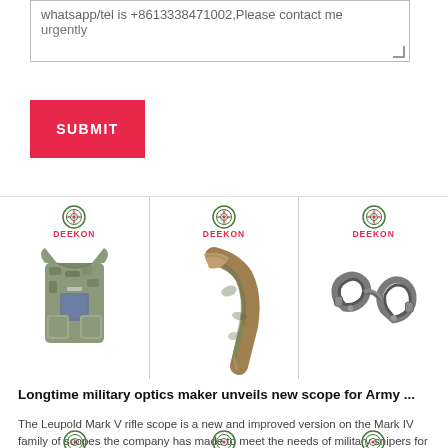whatsapp/tel is +8613338471002,Please contact me urgently
SUBMIT
[Figure (photo): Three product images with DEEKON logo: military/tactical vest, camouflage scarf, and handcuffs]
Longtime military optics maker unveils new scope for Army ...
The Leupold Mark V rifle scope is a new and improved version on the Mark IV family of scopes the company has made to meet the needs of military snipers for decades.
[Figure (logo): Three DEEKON logos at bottom of page]